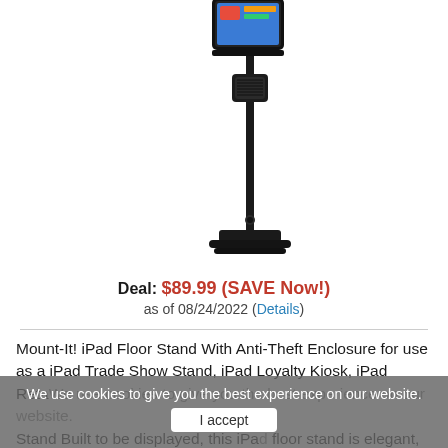[Figure (photo): iPad floor stand with anti-theft enclosure — black pole stand with tablet mount at top and secondary holder bracket, photographed on white background, partially cropped at top]
Deal: $89.99 (SAVE Now!)
as of 08/24/2022 (Details)
Mount-It! iPad Floor Stand With Anti-Theft Enclosure for use as a iPad Trade Show Stand, iPad Loyalty Kiosk, iPad Retail Kiosk Stand, and Check-in Stand. Built to be displayed, this iPad floor stand is elegant, slim, easy to use, and secure. Use as a check-in kiosk at
We use cookies to give you the best experience on our website.
I accept